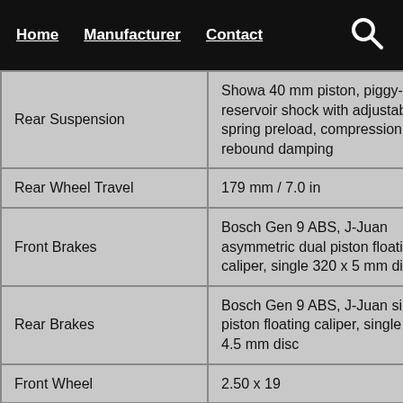Home  Manufacturer  Contact
| Specification | Value |
| --- | --- |
| Rear Suspension | Showa 40 mm piston, piggy-back reservoir shock with adjustable spring preload, compression and rebound damping |
| Rear Wheel Travel | 179 mm / 7.0 in |
| Front Brakes | Bosch Gen 9 ABS, J-Juan asymmetric dual piston floating caliper, single 320 x 5 mm disc |
| Rear Brakes | Bosch Gen 9 ABS, J-Juan single piston floating caliper, single 240 x 4.5 mm disc |
| Front Wheel | 2.50 x 19 |
| Rear Wheel | 3.50 x 17 |